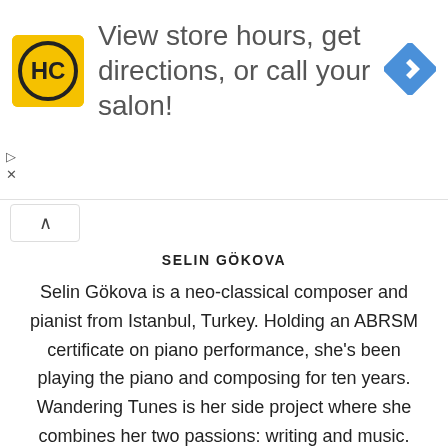[Figure (screenshot): Advertisement banner for HC (Hair Club) with yellow logo, text 'View store hours, get directions, or call your salon!' and a blue navigation arrow icon. Below the ad are small controls with triangle play and X symbols.]
SELIN GÖKOVA
Selin Gökova is a neo-classical composer and pianist from Istanbul, Turkey. Holding an ABRSM certificate on piano performance, she's been playing the piano and composing for ten years. Wandering Tunes is her side project where she combines her two passions: writing and music.
All posts